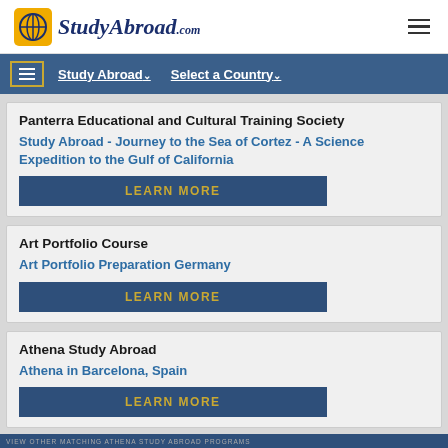StudyAbroad.com
Study Abroad | Select a Country
Panterra Educational and Cultural Training Society
Study Abroad - Journey to the Sea of Cortez - A Science Expedition to the Gulf of California
LEARN MORE
Art Portfolio Course
Art Portfolio Preparation Germany
LEARN MORE
Athena Study Abroad
Athena in Barcelona, Spain
LEARN MORE